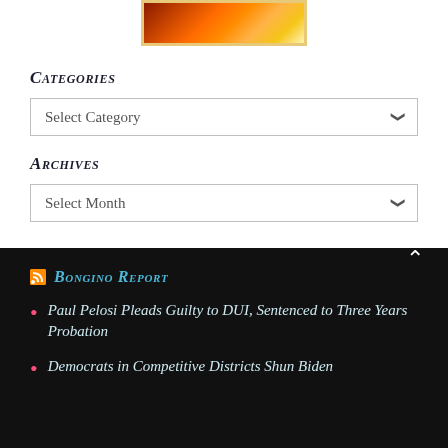[Figure (photo): Small image with orange/red gradient, framed with golden border]
Categories
Select Category
Archives
Select Month
Bongino Report
Paul Pelosi Pleads Guilty to DUI, Sentenced to Three Years Probation
Democrats in Competitive Districts Shun Biden